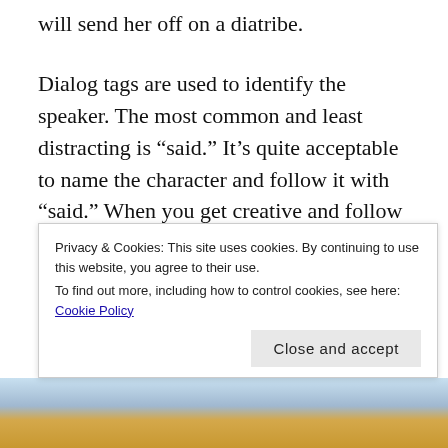will send her off on a diatribe.
Dialog tags are used to identify the speaker. The most common and least distracting is “said.” It’s quite acceptable to name the character and follow it with “said.” When you get creative and follow a question mark with “asked,” or an exclamation point with “exclaimed” or “explained” or “surmised” or any of the myriad others that newbie writers use, you start distracting your reader. It’s self-explanatory that a question was asked or an interjection has been…well…
Privacy & Cookies: This site uses cookies. By continuing to use this website, you agree to their use.
To find out more, including how to control cookies, see here: Cookie Policy
[Figure (photo): Partial bottom image strip, warm orange/blue tones, appears to be a photo of people]